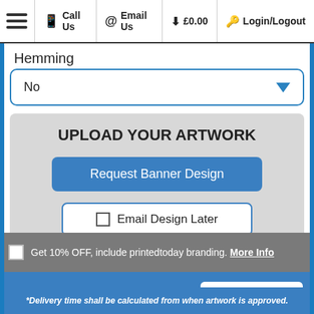☰  Call Us  @  Email Us  🛒 £0.00  🔑 Login/Logout
Hemming
No
UPLOAD YOUR ARTWORK
Request Banner Design
Email Design Later
Upload Your Artwork
Get 10% OFF, include printedtoday branding. More Info
Total Price: £4.72
Add to cart
*Delivery time shall be calculated from when artwork is approved.